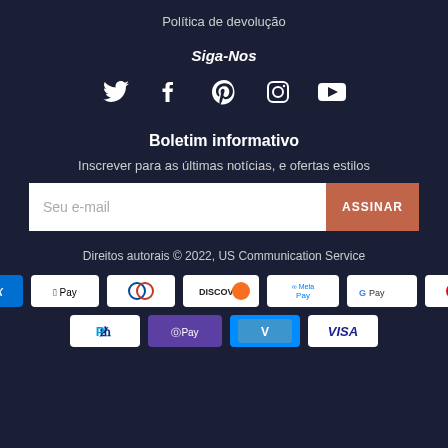Política de devolução
Siga-Nos
[Figure (infographic): Social media icons: Twitter, Facebook, Pinterest, Instagram, YouTube]
Boletim informativo
Inscrever para as últimas notícias, e ofertas estilos
Seu e-mail | ASSINAR
Direitos autorais © 2022, US Communication Service
[Figure (infographic): Payment method logos: AMEX, Apple Pay, Diners Club, Discover, Meta Pay, Google Pay, Mastercard, PayPal, Samsung Pay, Venmo, VISA]